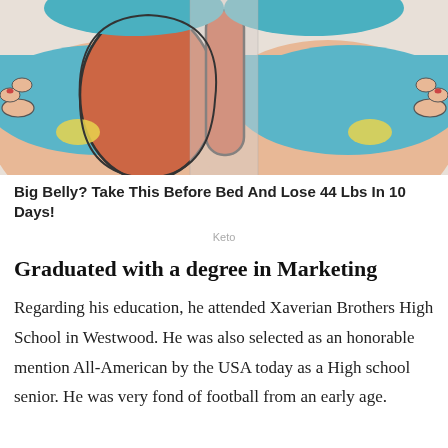[Figure (illustration): Medical illustration showing a cross-section comparison of a bloated stomach on the left and a slimmer stomach on the right, with anatomical cartoon-style art in blue, orange/red, and skin tones, hands visible on sides.]
Big Belly? Take This Before Bed And Lose 44 Lbs In 10 Days!
Keto
Graduated with a degree in Marketing
Regarding his education, he attended Xaverian Brothers High School in Westwood. He was also selected as an honorable mention All-American by the USA today as a High school senior. He was very fond of football from an early age.